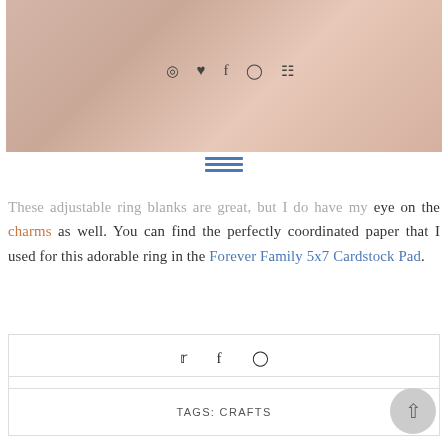[Figure (photo): Close-up photo of a hand/skin, partially visible at top of page, with social media icons overlaid]
These adjustable ring blanks are great, but I do have my eye on the charms as well. You can find the perfectly coordinated paper that I used for this adorable ring in the Forever Family 5x7 Cardstock Pad.
COMMENTS (4)
TAGS: CRAFTS